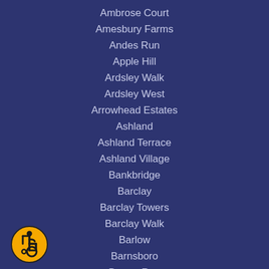Ambrose Court
Amesbury Farms
Andes Run
Apple Hill
Ardsley Walk
Ardsley West
Arrowhead Estates
Ashland
Ashland Terrace
Ashland Village
Bankbridge
Barclay
Barclay Towers
Barclay Walk
Barlow
Barnsboro
Barton Run
[Figure (illustration): Accessibility icon: yellow circle with black border containing a wheelchair accessibility symbol in black]